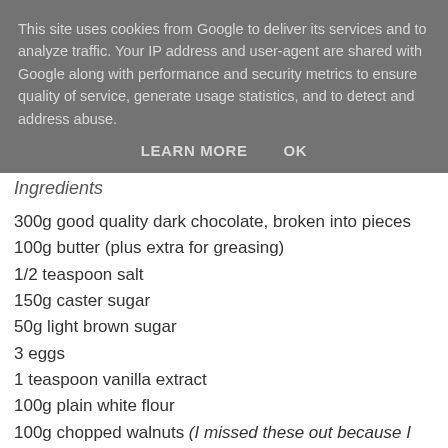This site uses cookies from Google to deliver its services and to analyze traffic. Your IP address and user-agent are shared with Google along with performance and security metrics to ensure quality of service, generate usage statistics, and to detect and address abuse.
LEARN MORE   OK
Ingredients
300g good quality dark chocolate, broken into pieces
100g butter (plus extra for greasing)
1/2 teaspoon salt
150g caster sugar
50g light brown sugar
3 eggs
1 teaspoon vanilla extract
100g plain white flour
100g chopped walnuts (I missed these out because I hate walnuts - pecans or chunks of chocolate would be a great alternative)